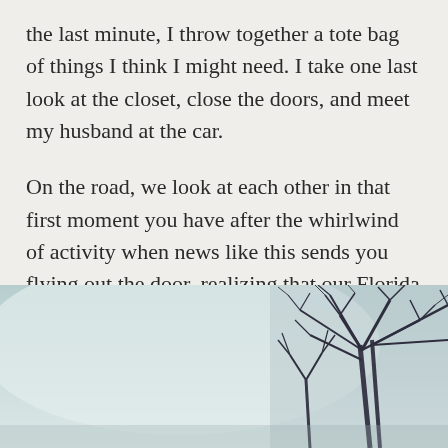the last minute, I throw together a tote bag of things I think I might need. I take one last look at the closet, close the doors, and meet my husband at the car.
On the road, we look at each other in that first moment you have after the whirlwind of activity when news like this sends you flying out the door, realizing that our Florida vacation isn’t going to happen.
[Figure (photo): A muted, desaturated outdoor photograph showing a pale grey-blue sky on the left side and bare winter tree branches on the right side, creating a cold, wintry atmosphere.]